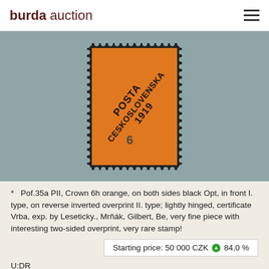burda auction
[Figure (photo): Orange Czech stamp Pof.35a with black overprint 'POSTA CESKOSLOVENSKA 1919', value 6h, on blue-grey background]
* Pof.35a PII, Crown 6h orange, on both sides black Opt, in front I. type, on reverse inverted overprint II. type; lightly hinged, certificate Vrba, exp. by Leseticky., Mrňák, Gilbert, Be, very fine piece with interesting two-sided overprint, very rare stamp!
Starting price: 50 000 CZK +84,0 %
U:DR
Sold: : 92 000 CZK